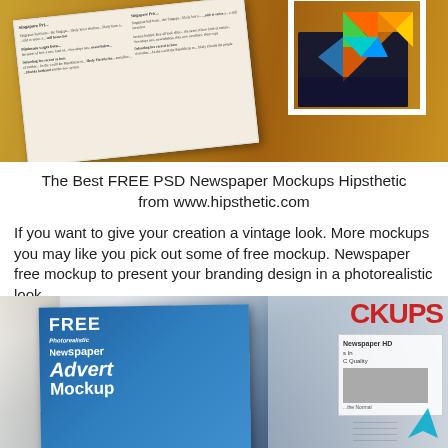[Figure (photo): Photo of an open newspaper/magazine spread on a wooden table, with colorful geometric 3D shapes (triangles in orange, yellow, green, teal) displayed on what appears to be a screen or graphic on the right side of the spread.]
The Best FREE PSD Newspaper Mockups Hipsthetic from www.hipsthetic.com
If you want to give your creation a vintage look. More mockups you may like you pick out some of free mockup. Newspaper free mockup to present your branding design in a photorealistic look.
[Figure (photo): Photo of open newspaper/magazine pages showing a 'FREE Newspaper Advert Mockup' advertisement with blue background and white text, and on the right side partial view of another newspaper page with 'Newspaper HD' text visible. A teal/cyan arrow watermark appears at bottom right.]